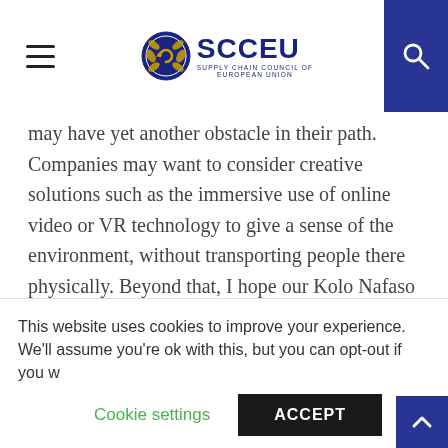SCCEU – Supply Chain Council of European Union
may have yet another obstacle in their path. Companies may want to consider creative solutions such as the immersive use of online video or VR technology to give a sense of the environment, without transporting people there physically. Beyond that, I hope our Kolo Nafaso case study will be an inspiring example, showing how, with thoughtful planning, organisations can scale both profits and social impact.
Amitava Chattopadhyay is a Professor of Marketing and the GlaxoSmithKline Chaired Professor of Corporate Innovation at INSEAD. He is co-author of The New
This website uses cookies to improve your experience. We'll assume you're ok with this, but you can opt-out if you w
Cookie settings    ACCEPT